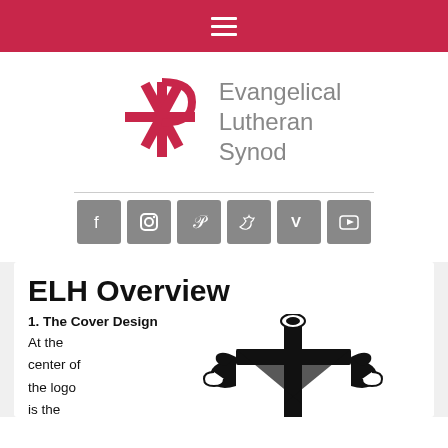≡ (hamburger menu)
[Figure (logo): Evangelical Lutheran Synod logo — Chi Rho symbol in red/crimson with text 'Evangelical Lutheran Synod' in grey]
[Figure (other): Row of six social media icon buttons (Facebook, Instagram, Pinterest, Twitter, Vimeo, YouTube) on grey square backgrounds]
ELH Overview
1. The Cover Design
At the center of the logo is the Cross, a
[Figure (illustration): Black and white illustration of a decorative cross with ornate detailing, partial view]